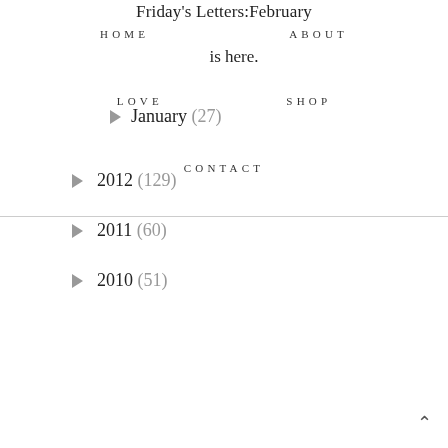Friday's Letters:February is here.
HOME   ABOUT
LOVE   SHOP
CONTACT
► January (27)
► 2012 (129)
► 2011 (60)
► 2010 (51)